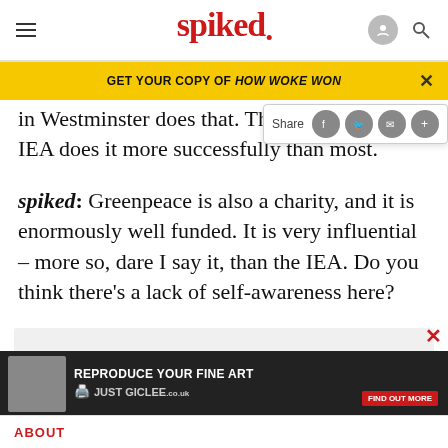spiked
GET YOUR COPY OF HOW WOKE WON
in Westminster does that. Though the IEA does it more successfully than most.
spiked: Greenpeace is also a charity, and it is enormously well funded. It is very influential – more so, dare I say it, than the IEA. Do you think there's a lack of self-awareness here?
[Figure (screenshot): Advertisement banner: REPRODUCE YOUR FINE ART / JUST GICLEE with FIND OUT MORE button]
ABOUT